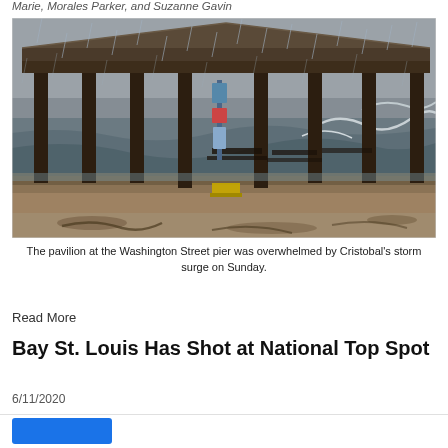Marie, Morales Parker, and Suzanne Gavin
[Figure (photo): A covered pavilion at the Washington Street pier overwhelmed by storm surge from Tropical Storm Cristobal, with waves and flooding visible around the support columns. Rain is falling heavily and the sky is overcast.]
The pavilion at the Washington Street pier was overwhelmed by Cristobal's storm surge on Sunday.
Read More
Bay St. Louis Has Shot at National Top Spot
6/11/2020